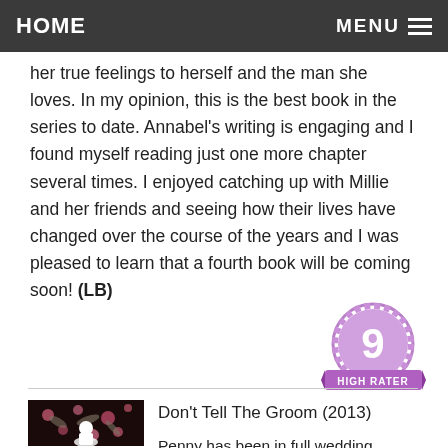HOME   MENU
her true feelings to herself and the man she loves. In my opinion, this is the best book in the series to date. Annabel's writing is engaging and I found myself reading just one more chapter several times. I enjoyed catching up with Millie and her friends and seeing how their lives have changed over the course of the years and I was pleased to learn that a fourth book will be coming soon! (LB)
[Figure (illustration): Purple badge with number 9 and text HIGH RATER]
[Figure (illustration): Book cover for Don't Tell The Groom (2013) - dark floral design with white bride silhouette]
Don't Tell The Groom (2013)
Penny has been in full wedding preparation mode for ages, she's just waiting for her